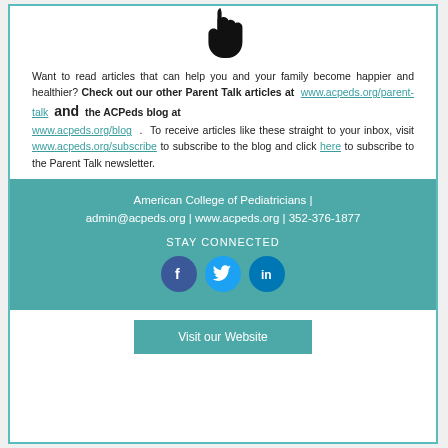[Figure (illustration): A black hand/cursor icon (pointing hand) centered at the top of the content area]
Want to read articles that can help you and your family become happier and healthier? Check out our other Parent Talk articles at www.acpeds.org/parent-talk and the ACPeds blog at www.acpeds.org/blog . To receive articles like these straight to your inbox, visit www.acpeds.org/subscribe to subscribe to the blog and click here to subscribe to the Parent Talk newsletter.
American College of Pediatricians | admin@acpeds.org | www.acpeds.org | 352-376-1877
STAY CONNECTED
[Figure (illustration): Three social media icons: Facebook (dark blue circle with f), Twitter (light blue circle with bird), LinkedIn (blue circle with in)]
Visit our Website